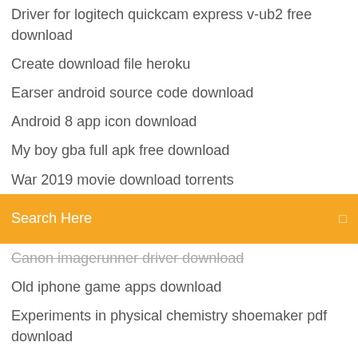Driver for logitech quickcam express v-ub2 free download
Create download file heroku
Earser android source code download
Android 8 app icon download
My boy gba full apk free download
War 2019 movie download torrents
Search Here
Canon imagerunner driver download
Old iphone game apps download
Experiments in physical chemistry shoemaker pdf download
Hp print and scan doctor driver download
The walking dead encounter app download
How to download original files from society6
Gta v free download android
Thepiratebayairac 1811 download torrent
Hotel dash pc game free download
Mega downloader android 2019